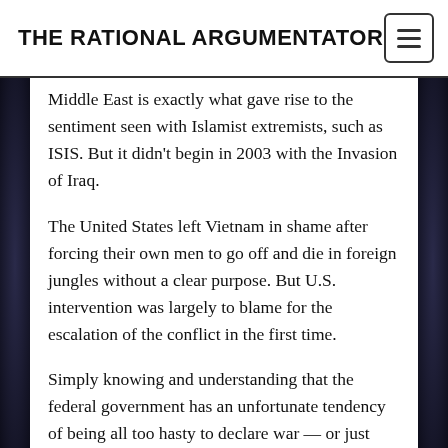THE RATIONAL ARGUMENTATOR
Middle East is exactly what gave rise to the sentiment seen with Islamist extremists, such as ISIS. But it didn't begin in 2003 with the Invasion of Iraq.
The United States left Vietnam in shame after forcing their own men to go off and die in foreign jungles without a clear purpose. But U.S. intervention was largely to blame for the escalation of the conflict in the first time.
Simply knowing and understanding that the federal government has an unfortunate tendency of being all too hasty to declare war — or just attack without any formal declaration — should be